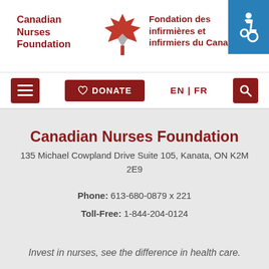[Figure (logo): Canadian Nurses Foundation logo with maple leaf icon and bilingual text]
[Figure (screenshot): Website navigation bar with hamburger menu, DONATE button, EN|FR language toggle, and search icon]
Canadian Nurses Foundation
135 Michael Cowpland Drive Suite 105, Kanata, ON K2M 2E9
Phone: 613-680-0879 x 221
Toll-Free: 1-844-204-0124
Invest in nurses, see the difference in health care.